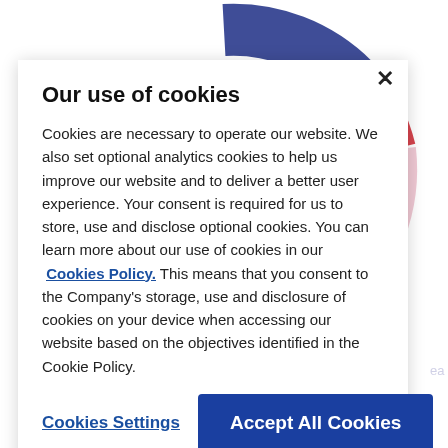[Figure (donut-chart): Partial donut/pie chart visible behind cookie consent overlay, with colored segments (dark blue, red, light pink/lavender) and category labels including 'Refining and Shared Facilities', 'Green Chemicals', 'Performance Materials and Chemicals'. Also shows 'ADJUSTED EBITDA*' text and bottom percentage labels '5%' and '13%' with partial pie chart segments at the bottom.]
Our use of cookies

Cookies are necessary to operate our website. We also set optional analytics cookies to help us improve our website and to deliver a better user experience. Your consent is required for us to store, use and disclose optional cookies. You can learn more about our use of cookies in our Cookies Policy. This means that you consent to the Company's storage, use and disclosure of cookies on your device when accessing our website based on the objectives identified in the Cookie Policy.
Cookies Settings
Accept All Cookies